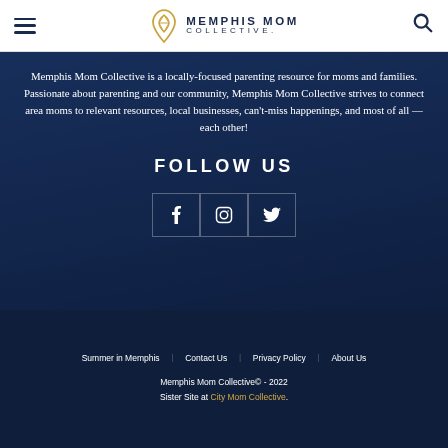Memphis Mom Collective
Memphis Mom Collective is a locally-focused parenting resource for moms and families. Passionate about parenting and our community, Memphis Mom Collective strives to connect area moms to relevant resources, local businesses, can't-miss happenings, and most of all — each other!
FOLLOW US
[Figure (infographic): Three social media icon buttons: Facebook (f), Instagram (camera), Twitter (bird)]
Summer in Memphis | Contact Us | Privacy Policy | About Us
Memphis Mom Collective© - 2022
Sister Site at City Mom Collective.